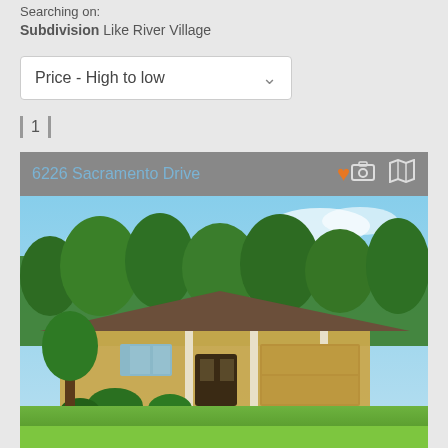Searching on:
Subdivision Like River Village
Price - High to low
1
6226 Sacramento Drive
[Figure (photo): Exterior photo of a single-story ranch-style home with tan/yellow stucco finish, brown shingle roof, attached two-car garage, green lawn, and large trees in background under blue sky.]